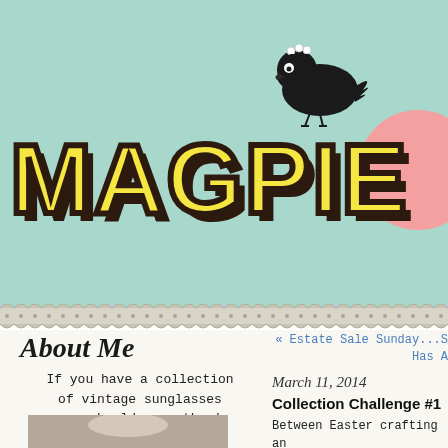[Figure (logo): Magpie blog header with teal/mint green background, large yellow bold text 'MAGPIE' with dark brown shadow, black bird silhouette with crown sitting above the letter P, and a partial pink circle on the right edge]
About Me
If you have a collection of vintage sunglasses you should wear them!
« Estate Sale Sunday...S Has A
March 11, 2014
Collection Challenge #1
Between Easter crafting an rest of the country) it se lambs/sheep.